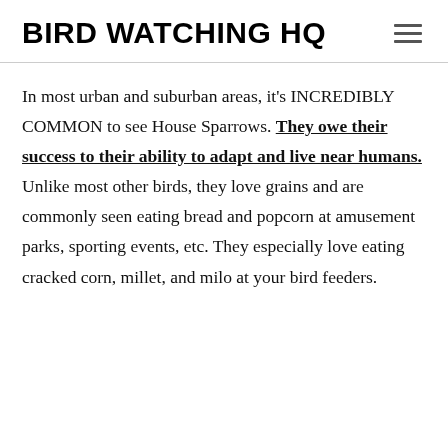BIRD WATCHING HQ
In most urban and suburban areas, it’s INCREDIBLY COMMON to see House Sparrows. They owe their success to their ability to adapt and live near humans. Unlike most other birds, they love grains and are commonly seen eating bread and popcorn at amusement parks, sporting events, etc. They especially love eating cracked corn, millet, and milo at your bird feeders.